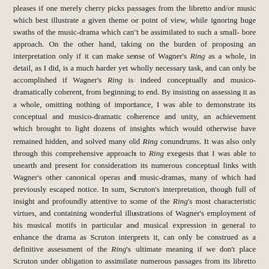pleases if one merely cherry picks passages from the libretto and/or music which best illustrate a given theme or point of view, while ignoring huge swaths of the music-drama which can't be assimilated to such a small-bore approach. On the other hand, taking on the burden of proposing an interpretation only if it can make sense of Wagner's Ring as a whole, in detail, as I did, is a much harder yet wholly necessary task, and can only be accomplished if Wagner's Ring is indeed conceptually and musico-dramatically coherent, from beginning to end. By insisting on assessing it as a whole, omitting nothing of importance, I was able to demonstrate its conceptual and musico-dramatic coherence and unity, an achievement which brought to light dozens of insights which would otherwise have remained hidden, and solved many old Ring conundrums. It was also only through this comprehensive approach to Ring exegesis that I was able to unearth and present for consideration its numerous conceptual links with Wagner's other canonical operas and music-dramas, many of which had previously escaped notice. In sum, Scruton's interpretation, though full of insight and profoundly attentive to some of the Ring's most characteristic virtues, and containing wonderful illustrations of Wagner's employment of his musical motifs in particular and musical expression in general to enhance the drama as Scruton interprets it, can only be construed as a definitive assessment of the Ring's ultimate meaning if we don't place Scruton under obligation to assimilate numerous passages from its libretto and music (particularly motival cross-referencing with the drama) which he neglected, but on which any serious attempt to interpret the Ring as a whole must turn. I suspect that if Scruton had tried to assimilate them to